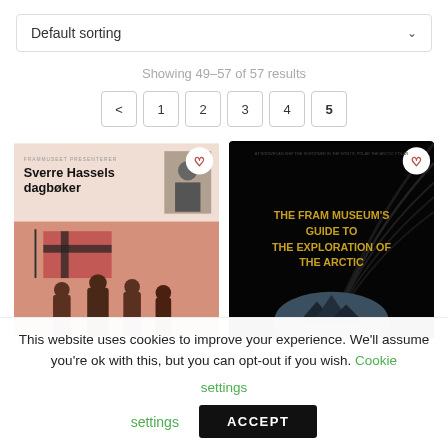Default sorting
Showing 49–57 of 57 results
< 1 2 3 4 5
[Figure (illustration): Book cover: Sverre Hassels dagbøker — salmon/terracotta colored cover with Norwegian flag silhouette and three human silhouettes at the bottom. Small portrait photo in upper right.]
[Figure (illustration): Book cover: The Fram Museum's Guide to the Exploration of the Arctic — black background with orange/gold bold title text and a globe/mountain landscape at the bottom.]
This website uses cookies to improve your experience. We'll assume you're ok with this, but you can opt-out if you wish. Cookie settings
ACCEPT